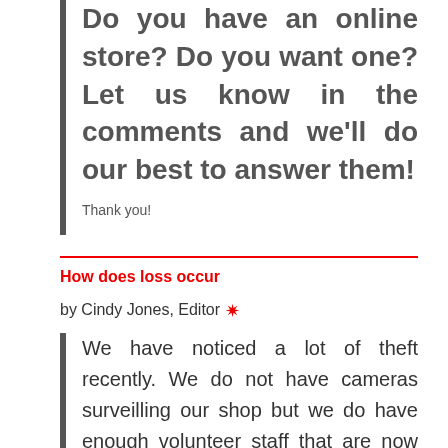Do you have an online store? Do you want one? Let us know in the comments and we’ll do our best to answer them!
Thank you!
How does loss occur
by Cindy Jones, Editor ✳
We have noticed a lot of theft recently. We do not have cameras surveilling our shop but we do have enough volunteer staff that are now being trained to watch for theft. They, however, say they are not